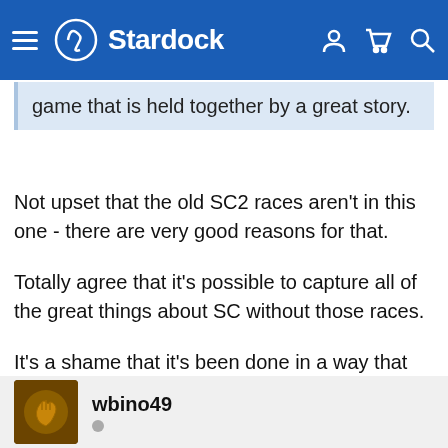Stardock
game that is held together by a great story.
Not upset that the old SC2 races aren't in this one - there are very good reasons for that.

Totally agree that it's possible to capture all of the great things about SC without those races.

It's a shame that it's been done in a way that (more or less) precludes the two story arcs being brought back together in the future though. Definitely not enough of a shame to kill the excitement 😊
wbino49